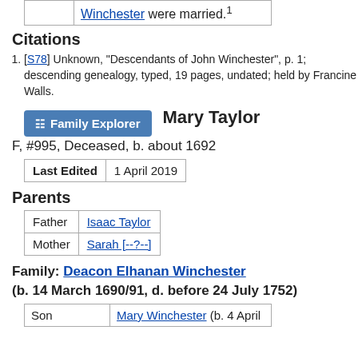|  | Winchester were married.1 |
Citations
[S78] Unknown, "Descendants of John Winchester", p. 1; descending genealogy, typed, 19 pages, undated; held by Francine Walls.
Family Explorer  Mary Taylor F, #995, Deceased, b. about 1692
| Last Edited | 1 April 2019 |
| --- | --- |
Parents
| Father | Isaac Taylor |
| Mother | Sarah [--?--] |
Family: Deacon Elhanan Winchester (b. 14 March 1690/91, d. before 24 July 1752)
| Son | Mary Winchester (b. 4 April |